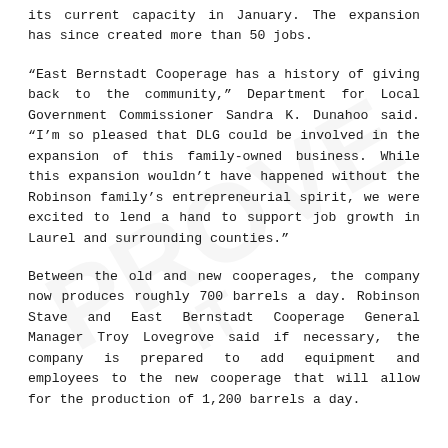its current capacity in January. The expansion has since created more than 50 jobs.
“East Bernstadt Cooperage has a history of giving back to the community,” Department for Local Government Commissioner Sandra K. Dunahoo said. “I’m so pleased that DLG could be involved in the expansion of this family-owned business. While this expansion wouldn’t have happened without the Robinson family’s entrepreneurial spirit, we were excited to lend a hand to support job growth in Laurel and surrounding counties.”
Between the old and new cooperages, the company now produces roughly 700 barrels a day. Robinson Stave and East Bernstadt Cooperage General Manager Troy Lovegrove said if necessary, the company is prepared to add equipment and employees to the new cooperage that will allow for the production of 1,200 barrels a day.